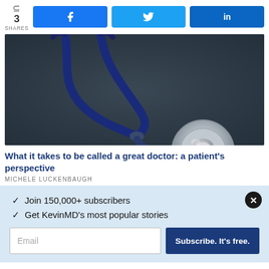3 SHARES  [Facebook] [Twitter] [LinkedIn]
[Figure (photo): Close-up photo of a stethoscope on a dark gray surface, showing the chest piece and tubing.]
What it takes to be called a great doctor: a patient's perspective
MICHELE LUCKENBAUGH
Join 150,000+ subscribers
Get KevinMD's most popular stories
Email  Subscribe. It's free.